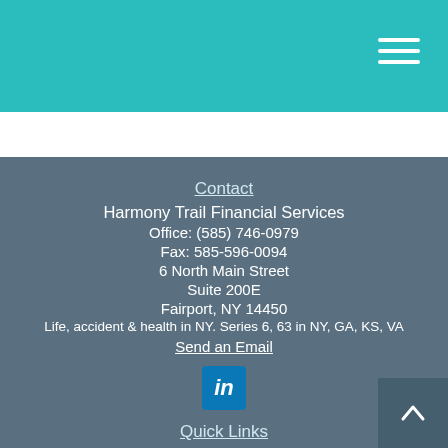[Figure (other): Teal header bar with hamburger menu icon (three white horizontal lines) in top-right corner]
Contact
Harmony Trail Financial Services
Office: (585) 746-0979
Fax: 585-596-0094
6 North Main Street
Suite 200E
Fairport, NY 14450
Life, accident & health in NY. Series 6, 63 in NY, GA, KS, VA
Send an Email
[Figure (logo): LinkedIn logo icon — blue square with white 'in' text]
Quick Links
Retirement
Investment